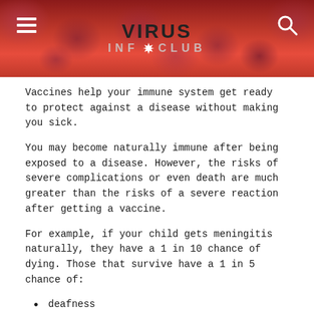[Figure (photo): Header banner with microscopic virus/blood cell imagery in red tones, featuring the 'VIRUS INFO CLUB' logo with a gear icon, hamburger menu icon on left, and search icon on right]
Vaccines help your immune system get ready to protect against a disease without making you sick.
You may become naturally immune after being exposed to a disease. However, the risks of severe complications or even death are much greater than the risks of a severe reaction after getting a vaccine.
For example, if your child gets meningitis naturally, they have a 1 in 10 chance of dying. Those that survive have a 1 in 5 chance of:
deafness
loss of limbs
brain damage